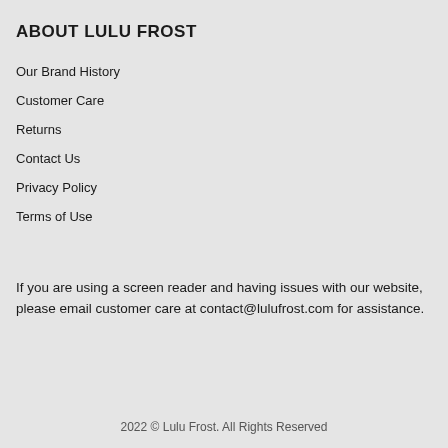ABOUT LULU FROST
Our Brand History
Customer Care
Returns
Contact Us
Privacy Policy
Terms of Use
If you are using a screen reader and having issues with our website, please email customer care at contact@lulufrost.com for assistance.
2022 © Lulu Frost. All Rights Reserved